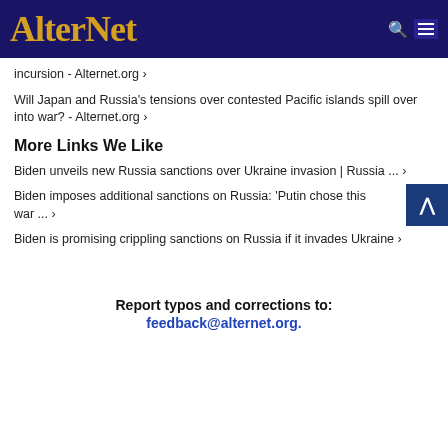AlterNet
incursion - Alternet.org ›
Will Japan and Russia's tensions over contested Pacific islands spill over into war? - Alternet.org ›
More Links We Like
Biden unveils new Russia sanctions over Ukraine invasion | Russia ... ›
Biden imposes additional sanctions on Russia: 'Putin chose this war ... ›
Biden is promising crippling sanctions on Russia if it invades Ukraine ›
Report typos and corrections to: feedback@alternet.org.